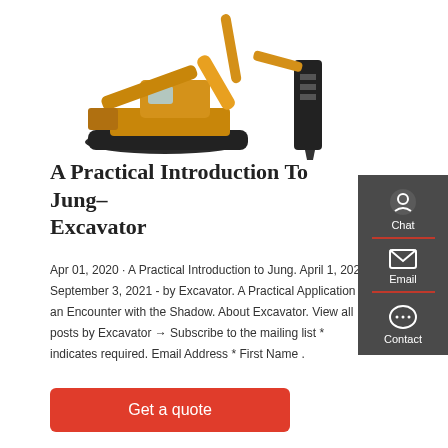[Figure (photo): Yellow excavator with hydraulic hammer attachment on white background]
A Practical Introduction To Jung– Excavator
Apr 01, 2020 · A Practical Introduction to Jung. April 1, 2020 September 3, 2021 - by Excavator. A Practical Application of an Encounter with the Shadow. About Excavator. View all posts by Excavator → Subscribe to the mailing list * indicates required. Email Address * First Name .
[Figure (infographic): Side panel with Chat, Email, and Contact icons on dark grey background]
Get a quote